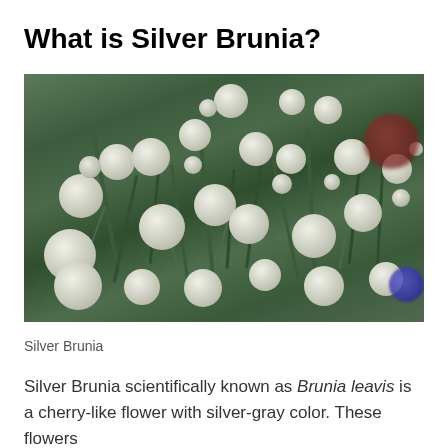What is Silver Brunia?
[Figure (photo): Close-up photograph of Silver Brunia plant showing many round silver-white spherical flower heads on dark green stems, with some blurred reddish and blue flowers in the background.]
Silver Brunia
Silver Brunia scientifically known as Brunia leavis is a cherry-like flower with silver-gray color. These flowers